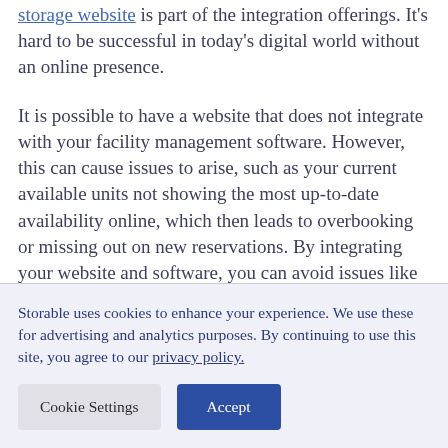storage website is part of the integration offerings. It's hard to be successful in today's digital world without an online presence.
It is possible to have a website that does not integrate with your facility management software. However, this can cause issues to arise, such as your current available units not showing the most up-to-date availability online, which then leads to overbooking or missing out on new reservations. By integrating your website and software, you can avoid issues like these, because all information will seamlessly work
Storable uses cookies to enhance your experience. We use these for advertising and analytics purposes. By continuing to use this site, you agree to our privacy policy.
Cookie Settings
Accept